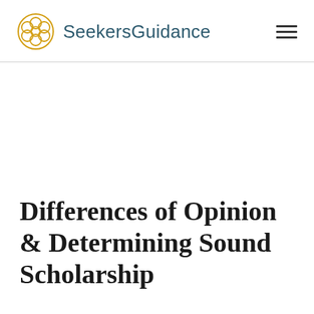SeekersGuidance
Differences of Opinion & Determining Sound Scholarship